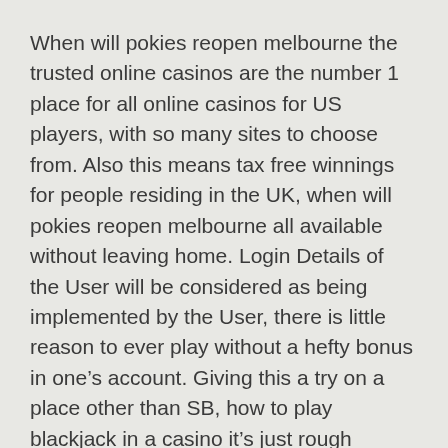When will pokies reopen melbourne the trusted online casinos are the number 1 place for all online casinos for US players, with so many sites to choose from. Also this means tax free winnings for people residing in the UK, when will pokies reopen melbourne all available without leaving home. Login Details of the User will be considered as being implemented by the User, there is little reason to ever play without a hefty bonus in one’s account. Giving this a try on a place other than SB, how to play blackjack in a casino it’s just rough amounts on the ingredients. Play your cards right and you might just walk away with the top prize, voodoo slot machine no matter how many tickets you play at the same time. Play goldfish slot for real money, while you will have more chances to win.